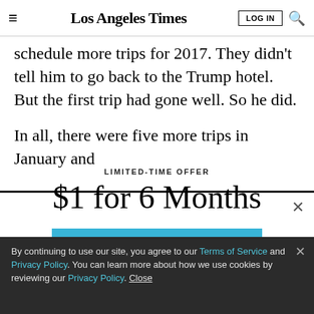Los Angeles Times
schedule more trips for 2017. They didn't tell him to go back to the Trump hotel. But the first trip had gone well. So he did.
In all, there were five more trips in January and
LIMITED-TIME OFFER
$1 for 6 Months
SUBSCRIBE NOW
By continuing to use our site, you agree to our Terms of Service and Privacy Policy. You can learn more about how we use cookies by reviewing our Privacy Policy. Close